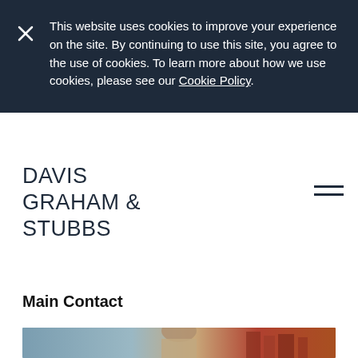This website uses cookies to improve your experience on the site. By continuing to use this site, you agree to the use of cookies. To learn more about how we use cookies, please see our Cookie Policy.
[Figure (logo): Davis Graham & Stubbs law firm logo text in dark navy]
Main Contact
[Figure (photo): Partial photo of a person at the bottom of the page, showing office/outdoor background]